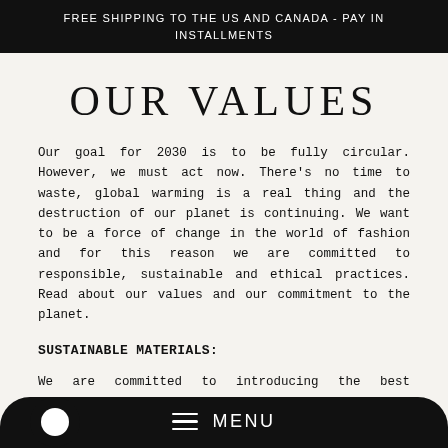FREE SHIPPING TO THE US AND CANADA - PAY IN INSTALLMENTS
OUR VALUES
Our goal for 2030 is to be fully circular. However, we must act now. There's no time to waste, global warming is a real thing and the destruction of our planet is continuing. We want to be a force of change in the world of fashion and for this reason we are committed to responsible, sustainable and ethical practices. Read about our values and our commitment to the planet.
SUSTAINABLE MATERIALS:
We are committed to introducing the best sustainable
MENU